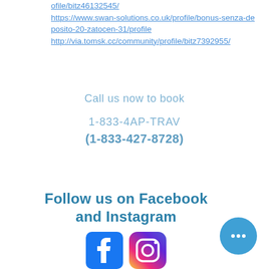ofile/bitz46132545/ https://www.swan-solutions.co.uk/profile/bonus-senza-deposito-20-zatocen-31/profile http://via.tomsk.cc/community/profile/bitz7392955/
Call us now to book
1-833-4AP-TRAV
(1-833-427-8728)
Follow us on Facebook and Instagram
[Figure (illustration): Facebook and Instagram social media icons side by side, followed by a blue circular chat bubble button with three dots]